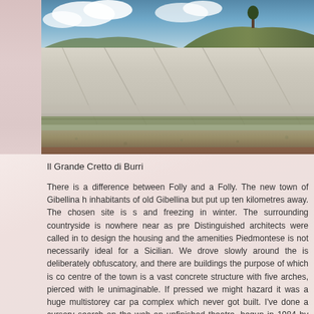[Figure (photo): Outdoor photograph of Il Grande Cretto di Burri – large white concrete slabs arranged on a hillside landscape, with dry grassy ground, a hill with trees in background, and blue sky with clouds above.]
Il Grande Cretto di Burri
There is a difference between Folly and a Folly. The new town of Gibellina [was built for the] inhabitants of old Gibellina but put up ten kilometres away. The chosen site is [scorching in summer] and freezing in winter. The surrounding countryside is nowhere near as pre[tty as the old one]. Distinguished architects were called in to design the housing and the amenities[; what is ideal for a] Piedmontese is not necessarily ideal for a Sicilian. We drove slowly around the[ town and the signage] is deliberately obfuscatory, and there are buildings the purpose of which is co[mpletely] centre of the town is a vast concrete structure with five arches, pierced with le[tters — purpose] unimaginable. If pressed we might hazard it was a huge multistorey car pa[rk for a shopping] complex which never got built. I've done a cursory search on the web an[d found it is an] unfinished theatre, begun in 1984 by abstract sculptor Pietro Consagra. A gigar[tic...]